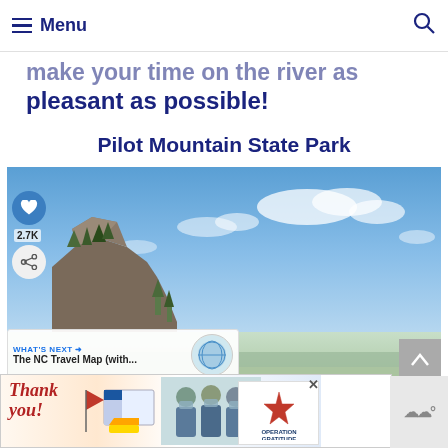Menu
make your time on the river as pleasant as possible!
Pilot Mountain State Park
[Figure (photo): Scenic view of Pilot Mountain State Park showing rocky cliff formation with trees against a blue sky with white clouds, and distant green valley below. Social media UI overlaid with heart/like button showing 2.7K likes and share button.]
WHAT'S NEXT → The NC Travel Map (with...